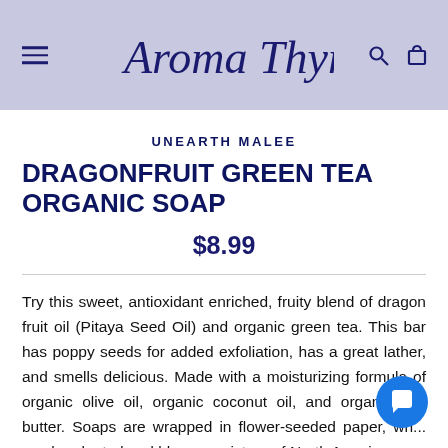Aroma Thyme (logo header with navigation)
UNEARTH MALEE
DRAGONFRUIT GREEN TEA ORGANIC SOAP
$8.99
Try this sweet, antioxidant enriched, fruity blend of dragon fruit oil (Pitaya Seed Oil) and organic green tea. This bar has poppy seeds for added exfoliation, has a great lather, and smells delicious. Made with a moisturizing formula of organic olive oil, organic coconut oil, and organic she butter. Soaps are wrapped in flower-seeded paper, wh... can be planted and bloom a mixture of North American